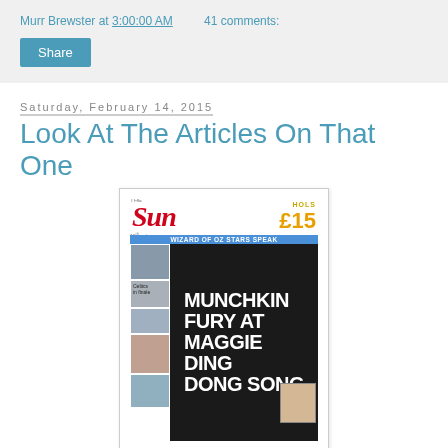Murr Brewster at 3:00:00 AM   41 comments:
Share
Saturday, February 14, 2015
Look At The Articles On That One
[Figure (photo): Front page of The Sun newspaper with headline 'MUNCHKIN FURY AT MAGGIE DING DONG SONG']
You've heard about the Sun tabloid kerfuffle. The Sun is one of those British newspapers with giant print and giant